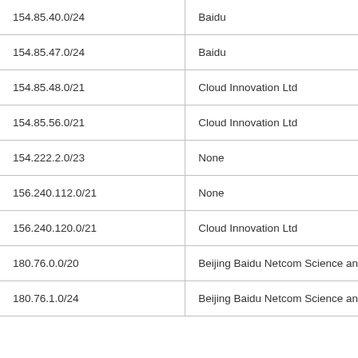| IP Range | Organization |
| --- | --- |
| 154.85.40.0/24 | Baidu |
| 154.85.47.0/24 | Baidu |
| 154.85.48.0/21 | Cloud Innovation Ltd |
| 154.85.56.0/21 | Cloud Innovation Ltd |
| 154.222.2.0/23 | None |
| 156.240.112.0/21 | None |
| 156.240.120.0/21 | Cloud Innovation Ltd |
| 180.76.0.0/20 | Beijing Baidu Netcom Science and |
| 180.76.1.0/24 | Beijing Baidu Netcom Science and |